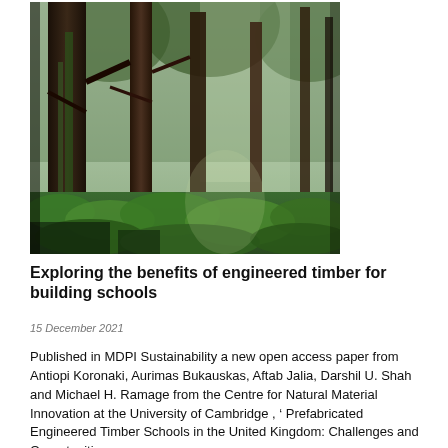[Figure (photo): A forest of tall conifer trees with green ferns and undergrowth at ground level, photographed looking upward through the canopy.]
Exploring the benefits of engineered timber for building schools
15 December 2021
Published in MDPI Sustainability a new open access paper from Antiopi Koronaki, Aurimas Bukauskas, Aftab Jalia, Darshil U. Shah and Michael H. Ramage from the Centre for Natural Material Innovation at the University of Cambridge , ‘ Prefabricated Engineered Timber Schools in the United Kingdom: Challenges and Opportunities